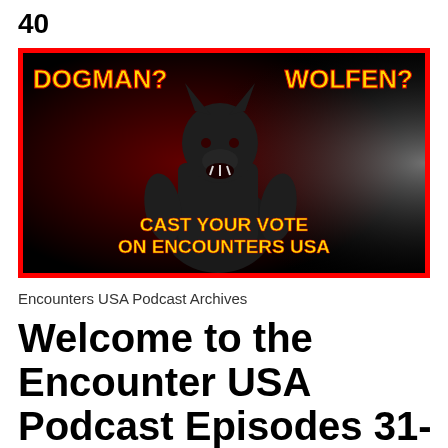40
[Figure (illustration): Promotional image with black background and red border showing a werewolf/dogman creature with yellow bold text reading 'DOGMAN?' on the left, 'WOLFEN?' on the right, and 'CAST YOUR VOTE ON ENCOUNTERS USA' at the bottom center.]
Encounters USA Podcast Archives
Welcome to the Encounter USA Podcast Episodes 31-